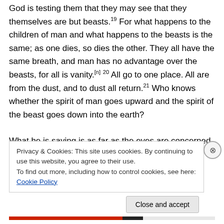God is testing them that they may see that they themselves are but beasts.[19] For what happens to the children of man and what happens to the beasts is the same; as one dies, so dies the other. They all have the same breath, and man has no advantage over the beasts, for all is vanity.[n] [20] All go to one place. All are from the dust, and to dust all return.[21] Who knows whether the spirit of man goes upward and the spirit of the beast goes down into the earth?
What he is saying is as far as the eyes are concerned
Privacy & Cookies: This site uses cookies. By continuing to use this website, you agree to their use.
To find out more, including how to control cookies, see here: Cookie Policy